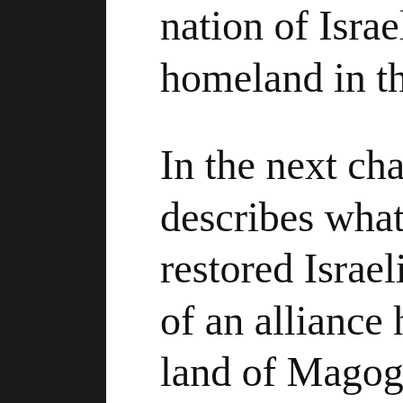nation of Israel on her ancient homeland in the last days.
In the next chapter, Ezekiel describes what will befall the restored Israeli nation at the hands of an alliance headed by “Gog, the land of Magog, the chief prince of Meshech and Tubal.”